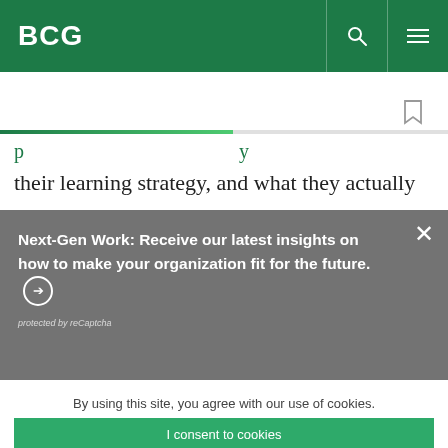BCG
their learning strategy, and what they actually
Next-Gen Work: Receive our latest insights on how to make your organization fit for the future. ➔
protected by reCaptcha
By using this site, you agree with our use of cookies.
I consent to cookies
Want to know more?
Read our Cookie Policy